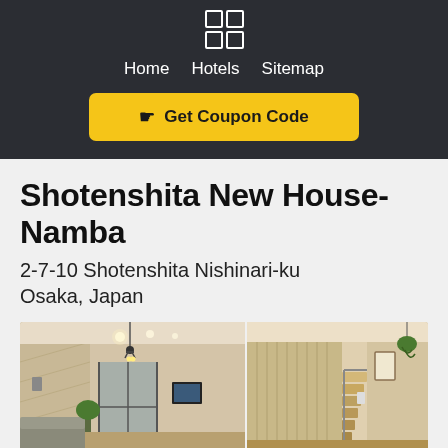[Figure (logo): Grid logo icon with 4 squares in 2x2 arrangement, white outlines on dark background]
Home  Hotels  Sitemap
☛ Get Coupon Code
Shotenshita New House-Namba
2-7-10 Shotenshita Nishinari-ku Osaka, Japan
[Figure (photo): Interior photo of the Shotenshita New House-Namba showing a narrow hallway/living area with ceiling lights, a TV mounted on wall, wooden staircase visible on right side, and a plant near a glass door]